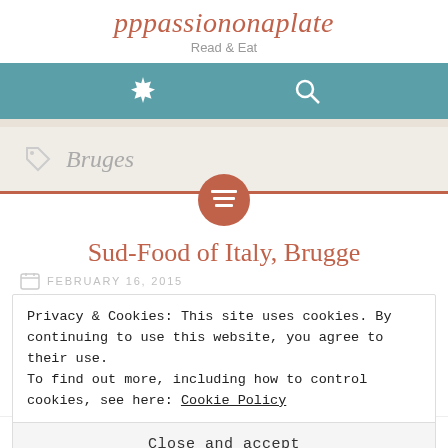pppassiononaplate
Read & Eat
[Figure (screenshot): Navigation bar with teal background containing a gear/settings icon and a search magnifying glass icon in white]
Bruges
[Figure (screenshot): Round terracotta/rust colored button with a menu/list lines icon in white]
Sud-Food of Italy, Brugge
FEBRUARY 16, 2015
Privacy & Cookies: This site uses cookies. By continuing to use this website, you agree to their use.
To find out more, including how to control cookies, see here: Cookie Policy
Close and accept
Bruges, so today we headed to the city centre to have